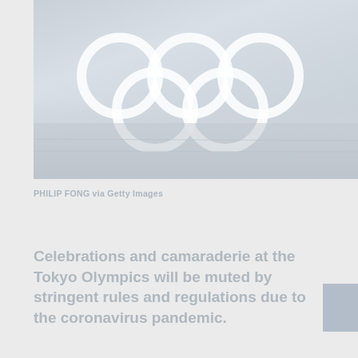[Figure (photo): Photograph of the Olympic rings against a misty/foggy landscape background, displayed in muted blue-grey tones. The five Olympic rings are shown in white against a light blue-grey sky with a hazy waterfront or landscape scene below.]
PHILIP FONG via Getty Images
Celebrations and camaraderie at the Tokyo Olympics will be muted by stringent rules and regulations due to the coronavirus pandemic.